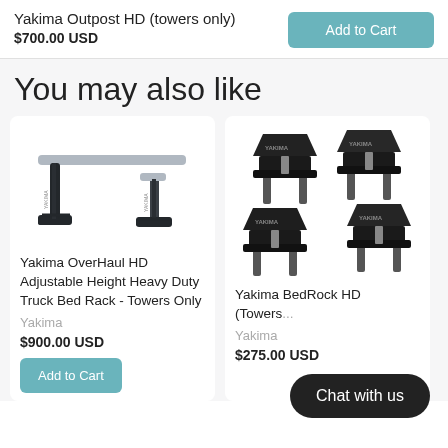Yakima Outpost HD (towers only)
$700.00 USD
Add to Cart
You may also like
[Figure (photo): Yakima OverHaul HD Adjustable Height Heavy Duty Truck Bed Rack - Towers Only product image showing two black metal rack towers with a crossbar]
Yakima OverHaul HD Adjustable Height Heavy Duty Truck Bed Rack - Towers Only
Yakima
$900.00 USD
Add to Cart
[Figure (photo): Yakima BedRock HD towers product image showing four black clamp-style tower mounts]
Yakima BedRock HD (Towers...
Yakima
$275.00 USD
Chat with us